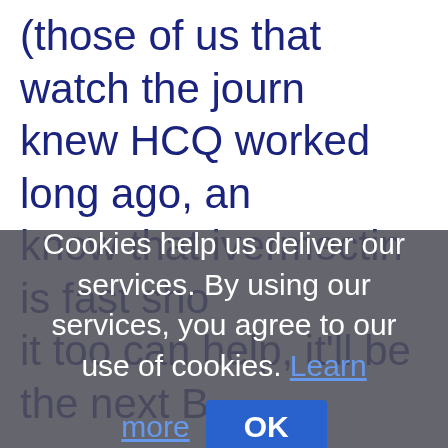(those of us that watch the journ knew HCQ worked long ago, an know that ivermectin is fast sho it too can help, it'll be the next B
Cookies help us deliver our services. By using our services, you agree to our use of cookies. Learn more
OK